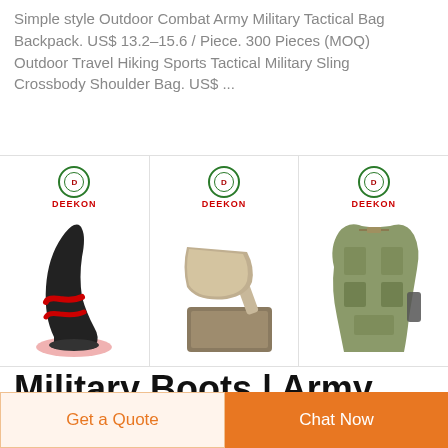Simple style Outdoor Combat Army Military Tactical Bag Backpack. US$ 13.2–15.6 / Piece. 300 Pieces (MOQ) Outdoor Travel Hiking Sports Tactical Military Sling Crossbody Shoulder Bag. US$ ...
[Figure (photo): Three product images from DEEKON brand: a black and red boot/shoe, a metal scoop with tray, and a camouflage tactical vest/carrier]
Military Boots | Army Navy Sales Army Navy Sales
From US-Army field jackets to Marine Corps boots, Navy